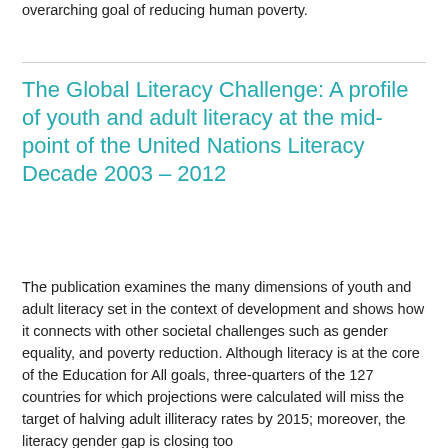overarching goal of reducing human poverty.
The Global Literacy Challenge: A profile of youth and adult literacy at the mid-point of the United Nations Literacy Decade 2003 – 2012
The publication examines the many dimensions of youth and adult literacy set in the context of development and shows how it connects with other societal challenges such as gender equality, and poverty reduction. Although literacy is at the core of the Education for All goals, three-quarters of the 127 countries for which projections were calculated will miss the target of halving adult illiteracy rates by 2015; moreover, the literacy gender gap is closing too